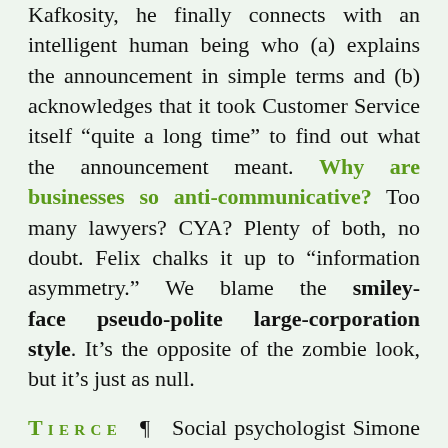Kafkosity, he finally connects with an intelligent human being who (a) explains the announcement in simple terms and (b) acknowledges that it took Customer Service itself “quite a long time” to find out what the announcement meant. Why are businesses so anti-communicative? Too many lawyers? CYA? Plenty of both, no doubt. Felix chalks it up to “information asymmetry.” We blame the smiley-face pseudo-polite large-corporation style. It’s the opposite of the zombie look, but it’s just as null.
Tierce ¶ Social psychologist Simone Schnall talks about her work on the close association between